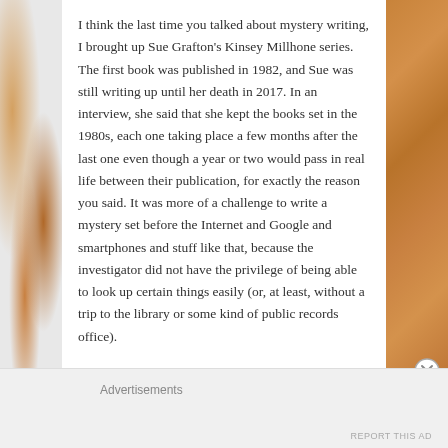I think the last time you talked about mystery writing, I brought up Sue Grafton's Kinsey Millhone series. The first book was published in 1982, and Sue was still writing up until her death in 2017. In an interview, she said that she kept the books set in the 1980s, each one taking place a few months after the last one even though a year or two would pass in real life between their publication, for exactly the reason you said. It was more of a challenge to write a mystery set before the Internet and Google and smartphones and stuff like that, because the investigator did not have the privilege of being able to look up certain things easily (or, at least, without a trip to the library or some kind of public records office).
Advertisements